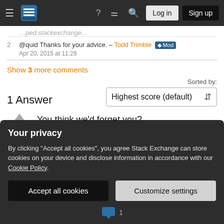Stack Exchange navigation bar with Log in and Sign up buttons
@quid Thanks for your advice. – Todd Trimble ♦ Mod
Apr 20, 2015 at 11:29
Show 3 more comments
1 Answer
Sorted by: Highest score (default)
You think we'd forget you?
MO isn't live yet because the new pages require an
Your privacy
By clicking "Accept all cookies", you agree Stack Exchange can store cookies on your device and disclose information in accordance with our Cookie Policy.
Accept all cookies   Customize settings